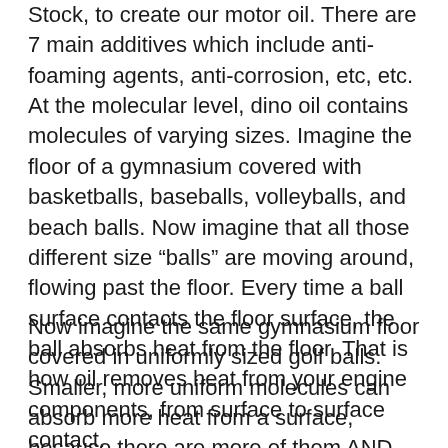Stock, to create our motor oil. There are 7 main additives which include anti-foaming agents, anti-corrosion, etc, etc. At the molecular level, dino oil contains molecules of varying sizes. Imagine the floor of a gymnasium covered with basketballs, baseballs, volleyballs, and beach balls. Now imagine that all those different size “balls” are moving around, flowing past the floor. Every time a ball surface contacts the floor surface, the ball absorbs heat from the floor. That is how oil removes heat from your engine components, from surface to surface contact.
Now imagine the same gymnasium floor covered in uniformly sized golf balls. Smaller, more uniform molecules can absorb more heat from a surface, because there are more of them AND they have a larger surface to